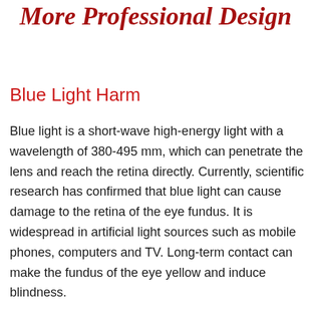More Professional Design
Blue Light Harm
Blue light is a short-wave high-energy light with a wavelength of 380-495 mm, which can penetrate the lens and reach the retina directly. Currently, scientific research has confirmed that blue light can cause damage to the retina of the eye fundus. It is widespread in artificial light sources such as mobile phones, computers and TV. Long-term contact can make the fundus of the eye yellow and induce blindness.
Double anti-blue lens